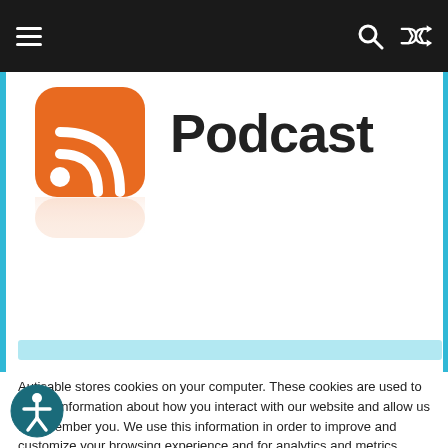Navigation bar with hamburger menu, search icon, and shuffle icon
[Figure (screenshot): Podcast header image showing an orange RSS feed icon and the word 'Podcast' in large bold text, with a light blue horizontal bar below]
Autisable stores cookies on your computer. These cookies are used to collect information about how you interact with our website and allow us to remember you. We use this information in order to improve and customize your browsing experience and for analytics and metrics about our visitors both on this website and other media. To find out more about the cookies we use, see our Privacy Policy.
To find out more about the cookies we use, see our Terms of Use.
[Figure (other): Accept button (teal/green filled) and Decline button (teal outline) cookie consent buttons]
[Figure (other): Circular accessibility icon (dark teal circle with white person figure)]